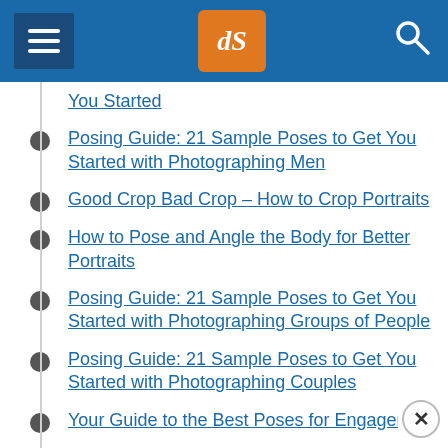dPS navigation header
You Started (partial link, truncated)
Posing Guide: 21 Sample Poses to Get You Started with Photographing Men
Good Crop Bad Crop – How to Crop Portraits
How to Pose and Angle the Body for Better Portraits
Posing Guide: 21 Sample Poses to Get You Started with Photographing Groups of People
Posing Guide: 21 Sample Poses to Get You Started with Photographing Couples
Your Guide to the Best Poses for Engagement